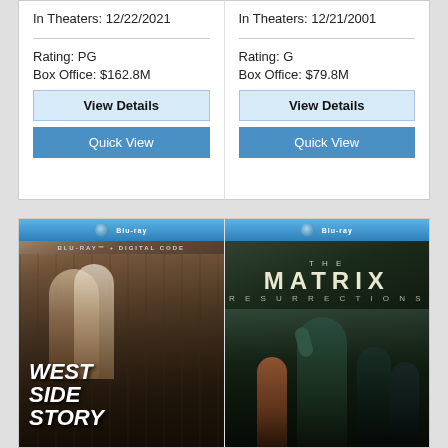In Theaters: 12/22/2021
Rating: PG
Box Office: $162.8M
View Details
Quick View
In Theaters: 12/21/2001
Rating: G
Box Office: $79.8M
View Details
Quick View
[Figure (photo): West Side Story Blu-ray cover showing two characters on fire escape with bold italic title text]
[Figure (photo): The Matrix Resurrections Blu-ray cover showing Neo and other characters with stylized title text]